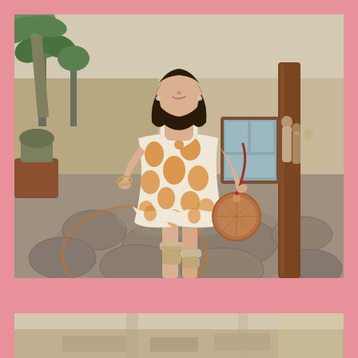[Figure (photo): A smiling young woman standing on a stone-paved path at a resort. She is wearing a white and golden-yellow floral ruffled mini dress with tie-front detail, beige sandals, and holding a round wicker/rattan bag with a brown leather strap. Palm trees and resort architecture are visible in the background.]
[Figure (photo): Partial view of another photo below, showing what appears to be an interior or outdoor setting — cropped at the bottom of the page.]